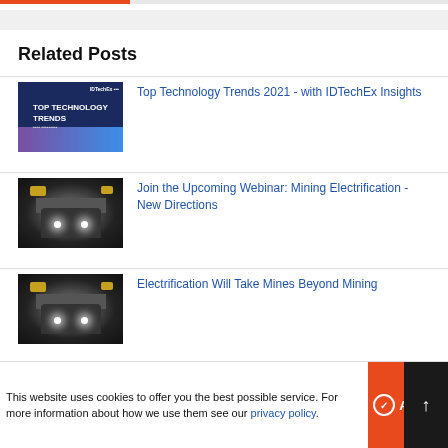Related Posts
[Figure (photo): Thumbnail image with dark blue background showing 'TOP TECHNOLOGY TRENDS' text with IDTechEx logo]
Top Technology Trends 2021 - with IDTechEx Insights
[Figure (photo): Dark mine tunnel interior with lights and machinery]
Join the Upcoming Webinar: Mining Electrification - New Directions
[Figure (photo): Dark mine tunnel interior with lights and machinery]
Electrification Will Take Mines Beyond Mining
[Figure (photo): Partial thumbnail of fourth related post]
This website uses cookies to offer you the best possible service. For more information about how we use them see our privacy policy.